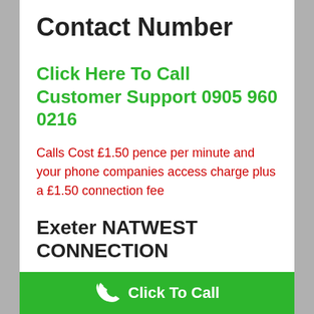Contact Number
Click Here To Call Customer Support 0905 960 0216
Calls Cost £1.50 pence per minute and your phone companies access charge plus a £1.50 connection fee
Exeter NATWEST CONNECTION
Call Connection Number
Click To Call